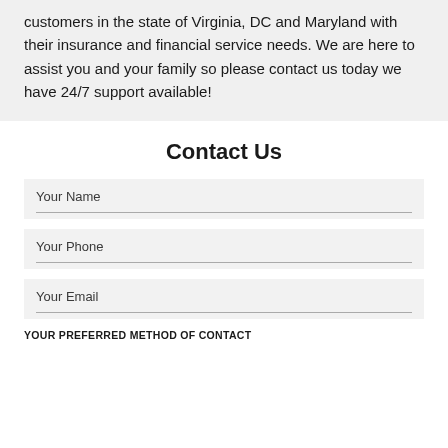customers in the state of Virginia, DC and Maryland with their insurance and financial service needs. We are here to assist you and your family so please contact us today we have 24/7 support available!
Contact Us
Your Name
Your Phone
Your Email
YOUR PREFERRED METHOD OF CONTACT